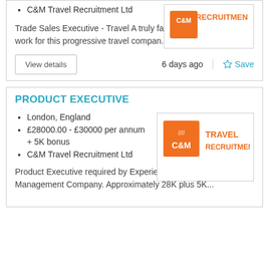C&M Travel Recruitment Ltd
Trade Sales Executive - Travel A truly fantastic opportunity to work for this progressive travel compan...
View details    6 days ago    Save
PRODUCT EXECUTIVE
London, England
£28000.00 - £30000 per annum + 5K bonus
C&M Travel Recruitment Ltd
[Figure (logo): C&M Travel Recruitment logo - orange square with C&M text and 'TRAVEL RECRUITMENT' in orange]
Product Executive required by Experiential Destination Management Company. Approximately 28K plus 5K...